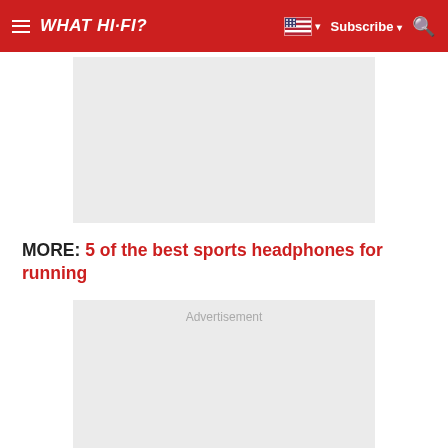WHAT HI-FI?
[Figure (other): Advertisement placeholder box (grey rectangle)]
MORE: 5 of the best sports headphones for running
[Figure (other): Advertisement placeholder box (grey rectangle) with 'Advertisement' label]